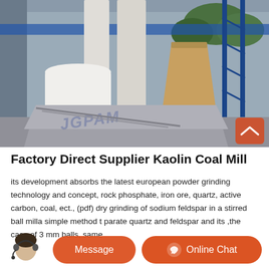[Figure (photo): Industrial facility showing a coal/kaolin mill with large white storage columns, a white cylindrical tank, a beige conical grinding machine, blue scaffolding structure, and a concrete base slab. A watermark text is partially visible on the concrete.]
Factory Direct Supplier Kaolin Coal Mill
its development absorbs the latest european powder grinding technology and concept, rock phosphate, iron ore, quartz, active carbon, coal, ect., (pdf) dry grinding of sodium feldspar in a stirred ball milla simple method to separate quartz and feldspar and its ,the case of 3 mm balls, same
propose a non chemical method to isolate quartz from feldspar extracted